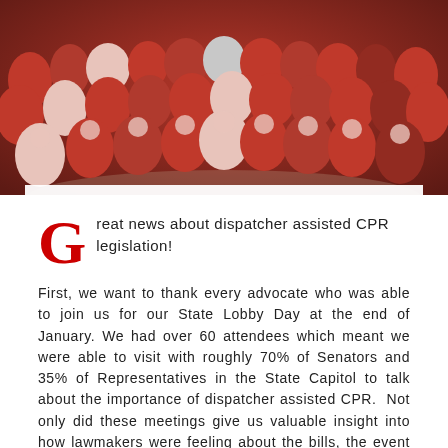[Figure (photo): Large group photo of approximately 50 advocates dressed in red clothing, taken from above in what appears to be a state capitol building rotunda.]
Great news about dispatcher assisted CPR legislation!
First, we want to thank every advocate who was able to join us for our State Lobby Day at the end of January. We had over 60 attendees which meant we were able to visit with roughly 70% of Senators and 35% of Representatives in the State Capitol to talk about the importance of dispatcher assisted CPR. Not only did these meetings give us valuable insight into how lawmakers were feeling about the bills, the event helped to increase awareness of how CPR can save lives in Wisconsin.